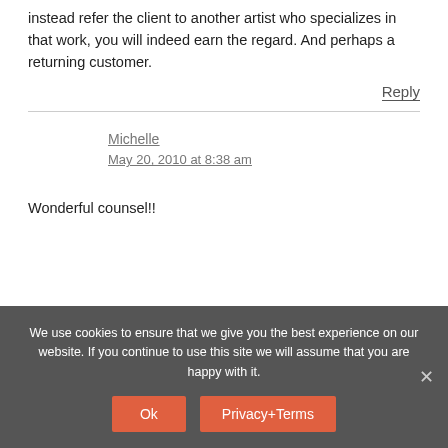instead refer the client to another artist who specializes in that work, you will indeed earn the regard. And perhaps a returning customer.
Reply
Michelle
May 20, 2010 at 8:38 am
Wonderful counsel!!
We use cookies to ensure that we give you the best experience on our website. If you continue to use this site we will assume that you are happy with it.
Ok
Privacy+Terms